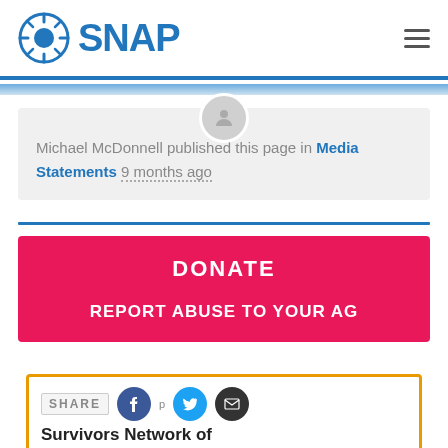SNAP
Michael McDonnell published this page in Media Statements 9 months ago
DONATE
REPORT ABUSE TO YOUR AG
SHARE
Survivors Network of